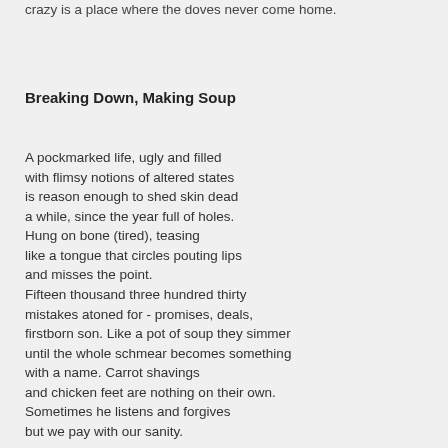crazy is a place where the doves never come home.
Breaking Down, Making Soup
A pockmarked life, ugly and filled
with flimsy notions of altered states
is reason enough to shed skin dead
a while, since the year full of holes.
Hung on bone (tired), teasing
like a tongue that circles pouting lips
and misses the point.
Fifteen thousand three hundred thirty
mistakes atoned for - promises, deals,
firstborn son. Like a pot of soup they simmer
until the whole schmear becomes something
with a name. Carrot shavings
and chicken feet are nothing on their own.
Sometimes he listens and forgives
but we pay with our sanity.